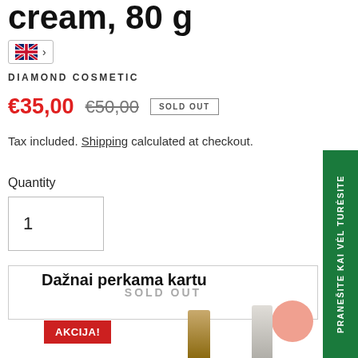cream, 80 g
[Figure (other): Language selector badge with UK flag and arrow]
DIAMOND COSMETIC
€35,00  €50,00  SOLD OUT
Tax included. Shipping calculated at checkout.
Quantity
1
SOLD OUT
PRANEŠITE KAI VĖL TURĖSITE
Dažnai perkama kartu
AKCIJA!